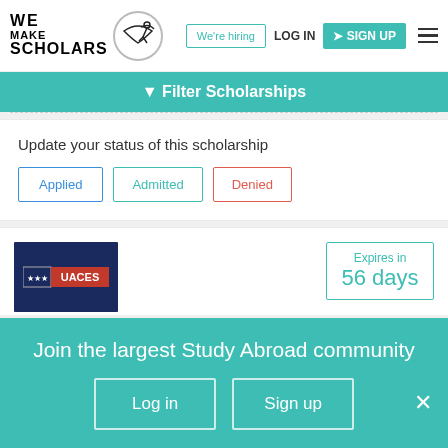[Figure (logo): We Make Scholars logo with silhouette figure and circular border]
We're hiring
LOG IN
SIGN UP
Filter Scholarships
Update your status of this scholarship
Applied
Admitted
Denied
[Figure (logo): UACES logo on dark navy background with EU stars icon]
Expires in
56 days
Join the largest Study Abroad community
Log in
Sign up